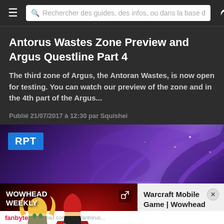Rechercher des guides, des infos, ou dans la base d
Antorus Wastes Zone Preview and Argus Questline Part 4
The third zone of Argus, the Antoran Wastes, is now open for testing. You can watch our preview of the zone and in the 4th part of the Argus...
Publié 21/07/2017 à 12:30 par Squishei
[Figure (screenshot): Purple/blue fantasy landscape with RPT badge overlay]
[Figure (screenshot): Wowhead Weekly #299 video thumbnail with anime characters and episode number]
Warcraft Mobile Game | Wowhead Weekly #299
fanbyte